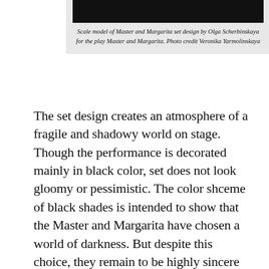[Figure (photo): Dark/black photograph of a scale model of Master and Margarita set design]
Scale model of Master and Margarita set design by Olga Scherbinskaya for the play Master and Margarita. Photo credit Veronika Yarmolinskaya
The set design creates an atmosphere of a fragile and shadowy world on stage. Though the performance is decorated mainly in black color, set does not look gloomy or pessimistic. The color shceme of black shades is intended to show that the Master and Margarita have chosen a world of darkness. But despite this choice, they remain to be highly sincere characters. Stage space becomes lively and exalted with the help of advanced lighting. The light score makes the faces and costumes of actors bright and expressive, it focuses attention on the objects and details that have been accurately introduced into the